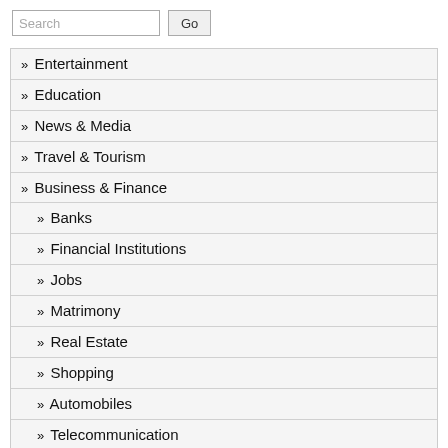Search [input] Go [button]
» Entertainment
» Education
» News & Media
» Travel & Tourism
» Business & Finance
» Banks
» Financial Institutions
» Jobs
» Matrimony
» Real Estate
» Shopping
» Automobiles
» Telecommunication
» Service Providers